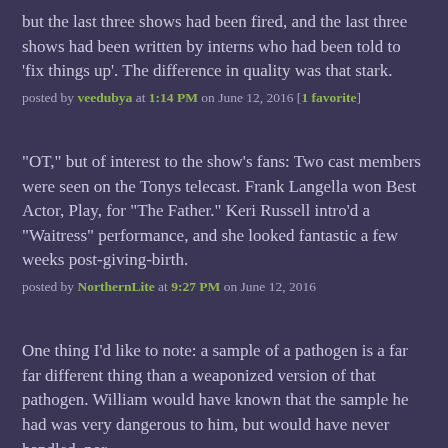but the last three shows had been fired, and the last three shows had been written by interns who had been told to 'fix things up'. The difference in quality was that stark.
posted by veedubya at 1:14 PM on June 12, 2016 [1 favorite]
"OT," but of interest to the show's fans: Two cast members were seen on the Tonys telecast. Frank Langella won Best Actor, Play, for "The Father." Keri Russell intro'd a "Waitress" performance, and she looked fantastic a few weeks post-giving-birth.
posted by NorthernLite at 9:27 PM on June 12, 2016
One thing I'd like to note: a sample of a pathogen is a far far different thing than a weaponized version of that pathogen. William would have known that the sample he had was very dangerous to him, but would have never handled, nor